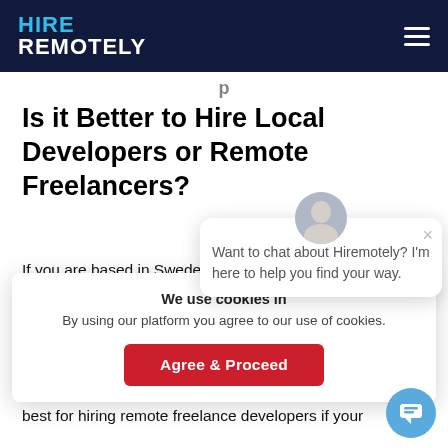HIRE REMOTELY
Is it Better to Hire Local Developers or Remote Freelancers?
If you are based in Sweden or Western Europe and plan to hire software develo...
[Figure (screenshot): Chat popup with avatar photo and message: Want to chat about Hiremotely? I'm here to help you find your way.]
We use cookies in
By using our platform you agree to our use of cookies.
Agree & Proceed
best for hiring remote freelance developers if your